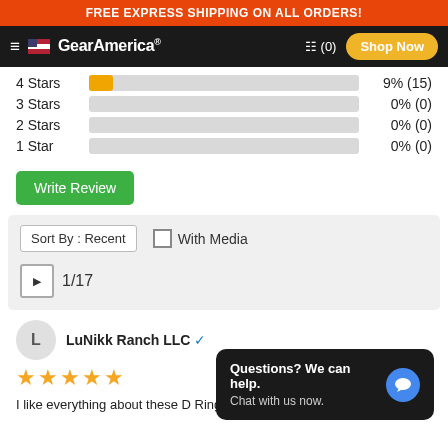FREE EXPRESS SHIPPING ON ALL ORDERS!
[Figure (screenshot): GearAmerica website navigation bar with hamburger menu, US flag logo, cart icon showing (0) and Shop Now button]
4 Stars  9% (15)
3 Stars  0% (0)
2 Stars  0% (0)
1 Star  0% (0)
Write Review
Sort By : Recent    With Media   1/17
LuNikk Ranch LLC ✓
I like everything about these D Rings! And they donate to the kids as
Questions? We can help. Chat with us now.